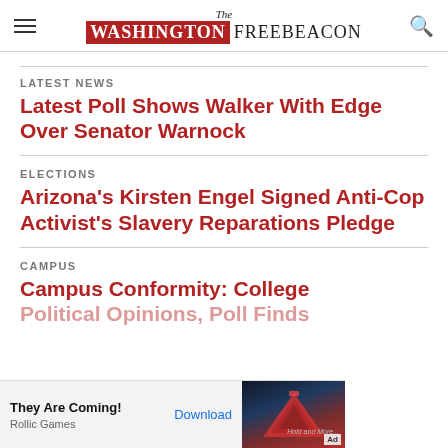The Washington Free Beacon
LATEST NEWS
Latest Poll Shows Walker With Edge Over Senator Warnock
ELECTIONS
Arizona's Kirsten Engel Signed Anti-Cop Activist's Slavery Reparations Pledge
CAMPUS
Campus Conformity: College Political Opinions, Poll Finds
[Figure (other): Mobile advertisement banner for 'They Are Coming!' game by Rollic Games, with pyramid graphic and Download button, marked as Ad]